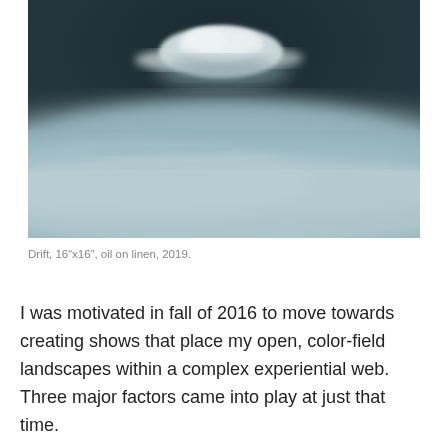[Figure (illustration): A painting titled 'Drift' showing a misty, atmospheric landscape with a white cloud or cloud-like form floating above a hazy, blue-grey ground. The image is largely monochromatic with tones of grey and muted blue-green. The upper portion is dark and the overall mood is dreamlike and minimalistic.]
Drift, 16"x16", oil on linen, 2019.
I was motivated in fall of 2016 to move towards creating shows that place my open, color-field landscapes within a complex experiential web. Three major factors came into play at just that time.